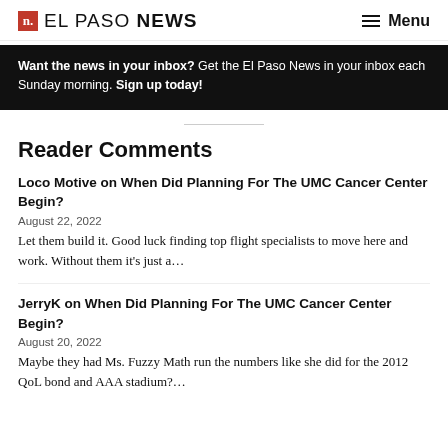n. EL PASO NEWS  ≡ Menu
Want the news in your inbox? Get the El Paso News in your inbox each Sunday morning. Sign up today!
Reader Comments
Loco Motive on When Did Planning For The UMC Cancer Center Begin?
August 22, 2022
Let them build it. Good luck finding top flight specialists to move here and work. Without them it's just a...
JerryK on When Did Planning For The UMC Cancer Center Begin?
August 20, 2022
Maybe they had Ms. Fuzzy Math run the numbers like she did for the 2012 QoL bond and AAA stadium?...